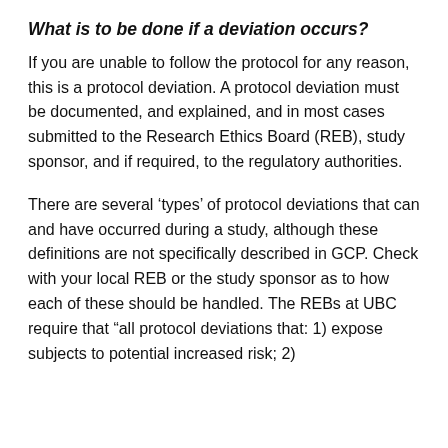What is to be done if a deviation occurs?
If you are unable to follow the protocol for any reason, this is a protocol deviation. A protocol deviation must be documented, and explained, and in most cases submitted to the Research Ethics Board (REB), study sponsor, and if required, to the regulatory authorities.
There are several 'types' of protocol deviations that can and have occurred during a study, although these definitions are not specifically described in GCP. Check with your local REB or the study sponsor as to how each of these should be handled. The REBs at UBC require that “all protocol deviations that: 1) expose subjects to potential increased risk; 2)